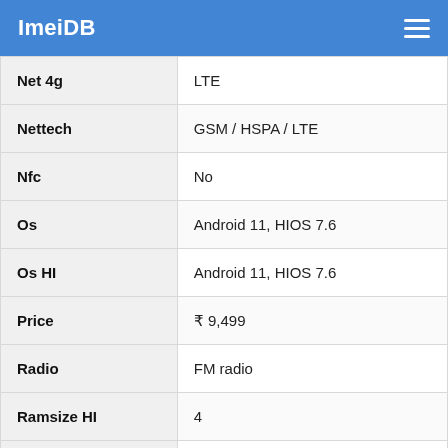ImeiDB
| Property | Value |
| --- | --- |
| Net 4g | LTE |
| Nettech | GSM / HSPA / LTE |
| Nfc | No |
| Os | Android 11, HIOS 7.6 |
| Os HI | Android 11, HIOS 7.6 |
| Price | ₹ 9,499 |
| Radio | FM radio |
| Ramsize HI | 4 |
| Released HI | Released 2021, December 15 |
| Sensors | Fingerprint (rear-mounted), accelerometer, proximity |